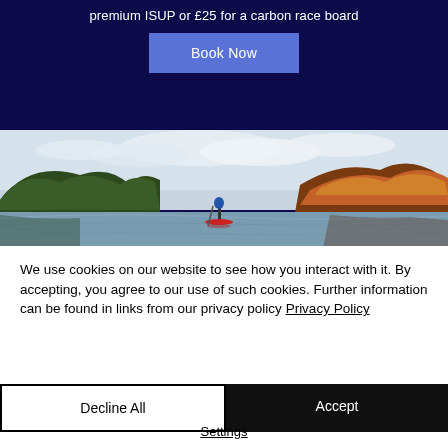premium ISUP or £25 for a carbon race board
Book Now
[Figure (photo): Person paddleboarding on a calm lake surrounded by autumn trees and hills, overcast sky]
We use cookies on our website to see how you interact with it. By accepting, you agree to our use of such cookies. Further information can be found in links from our privacy policy Privacy Policy
Decline All
Accept
Settings